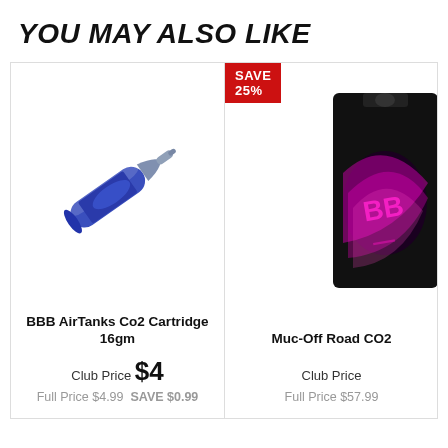YOU MAY ALSO LIKE
[Figure (photo): BBB AirTanks Co2 Cartridge 16gm - blue CO2 cartridge tilted diagonally]
BBB AirTanks Co2 Cartridge 16gm
Club Price $4
Full Price $4.99  SAVE $0.99
[Figure (photo): Muc-Off Road CO2 product in black packaging with pink design (partially visible)]
Muc-Off Road CO2
Club Price
Full Price $57.99